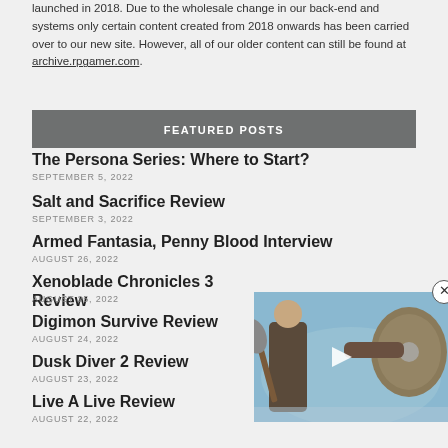launched in 2018. Due to the wholesale change in our back-end and systems only certain content created from 2018 onwards has been carried over to our new site. However, all of our older content can still be found at archive.rpgamer.com.
FEATURED POSTS
The Persona Series: Where to Start?
SEPTEMBER 5, 2022
Salt and Sacrifice Review
SEPTEMBER 3, 2022
Armed Fantasia, Penny Blood Interview
AUGUST 26, 2022
Xenoblade Chronicles 3 Review
AUGUST 25, 2022
Digimon Survive Review
AUGUST 24, 2022
Dusk Diver 2 Review
AUGUST 23, 2022
Live A Live Review
AUGUST 22, 2022
[Figure (screenshot): Video player overlay showing a Viking warrior holding an axe and shield, with a play button in the center and a close (X) button in the top right corner]